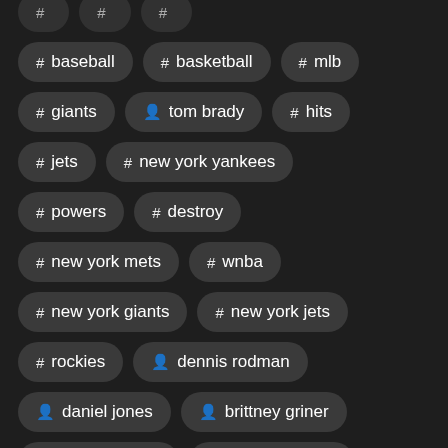# baseball
# basketball
# mlb
# giants
person tom brady
# hits
# jets
# new york yankees
# powers
# destroy
# new york mets
# wnba
# new york giants
# new york jets
# rockies
person dennis rodman
person daniel jones
person brittney griner
person aaron donald
person jacob degrom